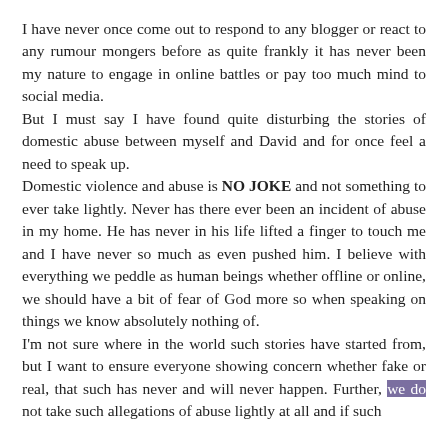I have never once come out to respond to any blogger or react to any rumour mongers before as quite frankly it has never been my nature to engage in online battles or pay too much mind to social media.
But I must say I have found quite disturbing the stories of domestic abuse between myself and David and for once feel a need to speak up.
Domestic violence and abuse is NO JOKE and not something to ever take lightly. Never has there ever been an incident of abuse in my home. He has never in his life lifted a finger to touch me and I have never so much as even pushed him. I believe with everything we peddle as human beings whether offline or online, we should have a bit of fear of God more so when speaking on things we know absolutely nothing of.
I'm not sure where in the world such stories have started from, but I want to ensure everyone showing concern whether fake or real, that such has never and will never happen. Further, we do not take such allegations of abuse lightly at all and if such